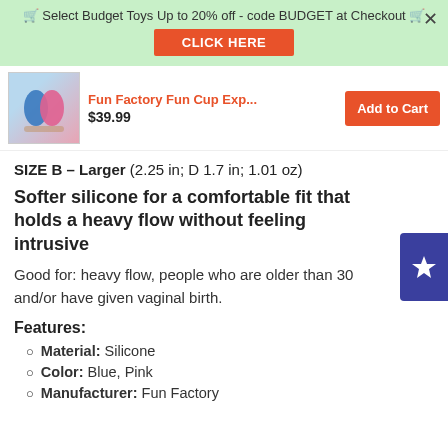🛒 Select Budget Toys Up to 20% off - code BUDGET at Checkout 🛒
CLICK HERE
Fun Factory Fun Cup Exp... $39.99 Add to Cart
SIZE B – Larger (2.25 in; D 1.7 in; 1.01 oz)
Softer silicone for a comfortable fit that holds a heavy flow without feeling intrusive
Good for: heavy flow, people who are older than 30 and/or have given vaginal birth.
Features:
Material: Silicone
Color: Blue, Pink
Manufacturer: Fun Factory